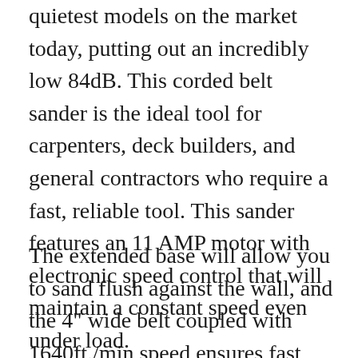quietest models on the market today, putting out an incredibly low 84dB. This corded belt sander is the ideal tool for carpenters, deck builders, and general contractors who require a fast, reliable tool. This sander features an 11 AMP motor with electronic speed control that will maintain a constant speed even under load.
The extended base will allow you to sand flush against the wall, and the 4" wide belt coupled with 1640ft./min speed ensures fast and efficient stock removal. The grip of the Makita is ergonomically designed and is large enough